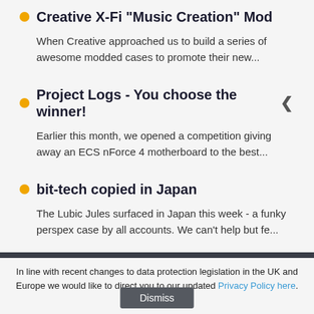Creative X-Fi "Music Creation" Mod
When Creative approached us to build a series of awesome modded cases to promote their new...
Project Logs - You choose the winner!
Earlier this month, we opened a competition giving away an ECS nForce 4 motherboard to the best...
bit-tech copied in Japan
The Lubic Jules surfaced in Japan this week - a funky perspex case by all accounts. We can't help but fe...
In line with recent changes to data protection legislation in the UK and Europe we would like to direct you to our updated Privacy Policy here.